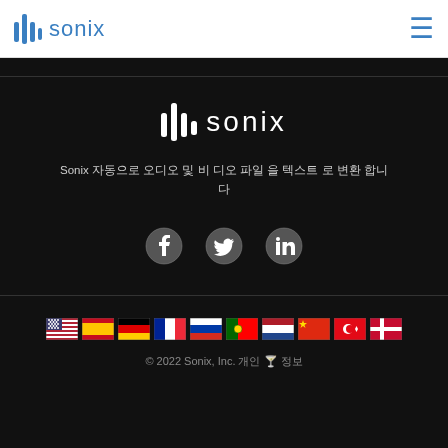sonix
[Figure (logo): Sonix logo in white on dark background]
Sonix 자동으로 오디오 및 비 디오 파일 을 텍스트 로 변환 합니 다
[Figure (illustration): Social media icons: Facebook, Twitter, LinkedIn]
[Figure (infographic): Row of country flags: USA, Spain, Germany, France, Russia, Portugal, Netherlands, China, Turkey, Denmark]
© 2022 Sonix, Inc. 법적 🍸 개인정보